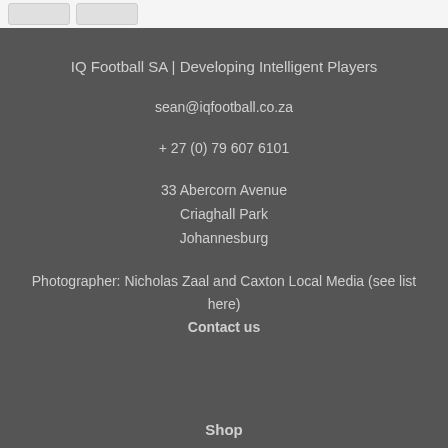IQ Football SA | Developing Intelligent Players
sean@iqfootball.co.za
+ 27 (0) 79 607 6101
33 Abercorn Avenue
Criaghall Park
Johannesburg
Photographer: Nicholas Zaal and Caxton Local Media (see list here)
Contact us
Shop